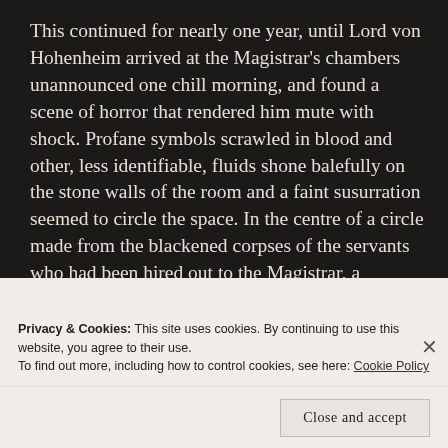This continued for nearly one year, until Lord von Hohenheim arrived at the Magistrar's chambers unannounced one chill morning, and found a scene of horror that rendered him mute with shock. Profane symbols scrawled in blood and other, less identifiable, fluids shone balefully on the stone walls of the room and a faint susurration seemed to circle the space. In the centre of a circle made from the blackened corpses of the servants who had been hired out to the Magistrar, a familiar figure rose. The Noble Lord moaned with terror and grief as the form of his son, lost all those years ago, straightened and walked slowly towards him. He knew little of the dread works of the Archonomy, but he could
Privacy & Cookies: This site uses cookies. By continuing to use this website, you agree to their use.
To find out more, including how to control cookies, see here: Cookie Policy
Close and accept